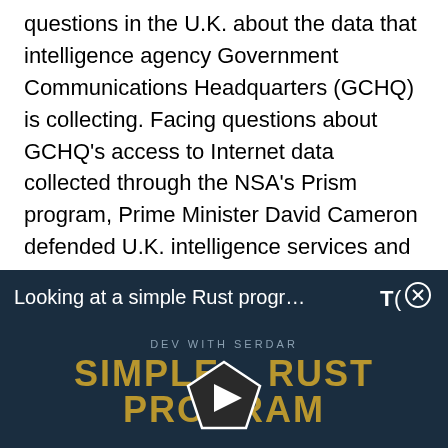questions in the U.K. about the data that intelligence agency Government Communications Headquarters (GCHQ) is collecting. Facing questions about GCHQ's access to Internet data collected through the NSA's Prism program, Prime Minister David Cameron defended U.K. intelligence services and said they comply with the law.
[Figure (screenshot): Advertisement thumbnail for a video titled 'Looking at a simple Rust progr...' with a dark navy background, showing 'DEV WITH SERDAR' text, 'SIMPLE RUST PROGRAM' in gold letters, a play button icon in the center, and a TechTarget logo with a close button in the top right corner.]